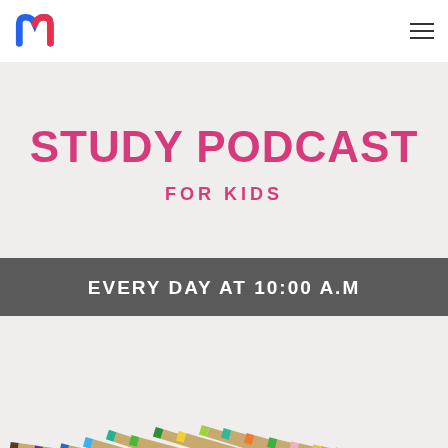[Figure (illustration): Study Podcast For Kids promotional poster with colored pencils. Large pink bold text reads 'STUDY PODCAST' with 'FOR KIDS' below it, a gray banner with white text 'EVERY DAY AT 10:00 A.M', and colorful pencils arranged at the bottom pointing upward.]